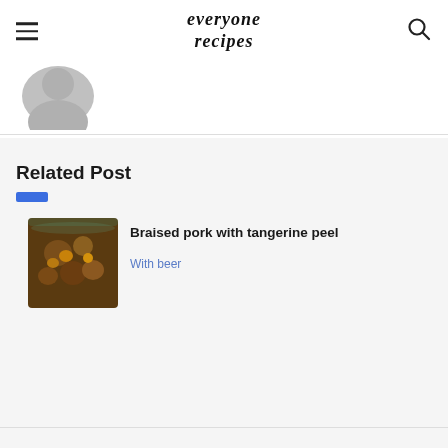everyone recipes
[Figure (photo): User avatar placeholder showing silhouette of a person]
Related Post
[Figure (photo): Thumbnail photo of braised pork with tangerine peel dish, showing brown glazed meat pieces]
Braised pork with tangerine peel
With beer